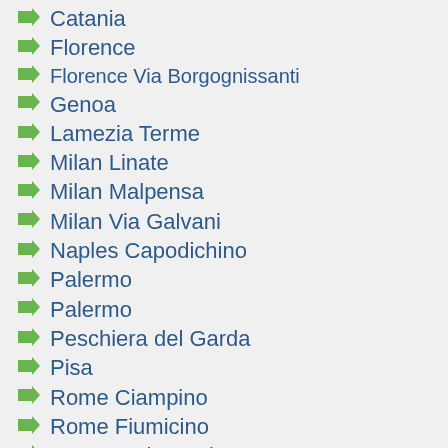Catania
Florence
Florence Via Borgognissanti
Genoa
Lamezia Terme
Milan Linate
Milan Malpensa
Milan Via Galvani
Naples Capodichino
Palermo
Palermo
Peschiera del Garda
Pisa
Rome Ciampino
Rome Fiumicino
Rome Train Station
Sardinia Olbia